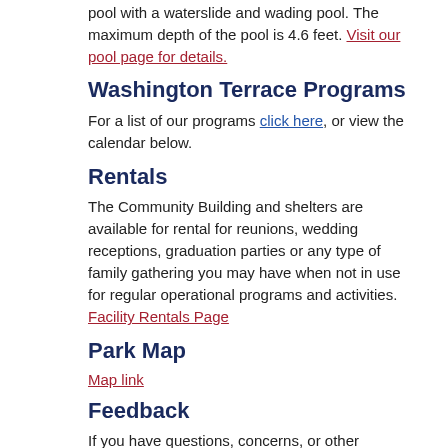Washington Terrace Pool offers a zero depth entry pool with a waterslide and wading pool. The maximum depth of the pool is 4.6 feet. Visit our pool page for details.
Washington Terrace Programs
For a list of our programs click here, or view the calendar below.
Rentals
The Community Building and shelters are available for rental for reunions, wedding receptions, graduation parties or any type of family gathering you may have when not in use for regular operational programs and activities. Facility Rentals Page
Park Map
Map link
Feedback
If you have questions, concerns, or other feedback for us, please complete and submit our online form